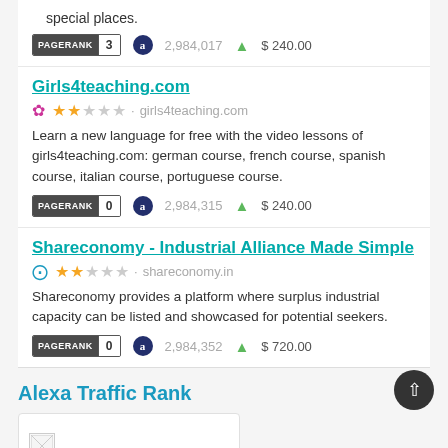special places.
PAGERANK 3   2,984,017   $ 240.00
Girls4teaching.com
★★☆☆☆ · girls4teaching.com
Learn a new language for free with the video lessons of girls4teaching.com: german course, french course, spanish course, italian course, portuguese course.
PAGERANK 0   2,984,315   $ 240.00
Shareconomy - Industrial Alliance Made Simple
★★☆☆☆ · shareconomy.in
Shareconomy provides a platform where surplus industrial capacity can be listed and showcased for potential seekers.
PAGERANK 0   2,984,352   $ 720.00
Alexa Traffic Rank